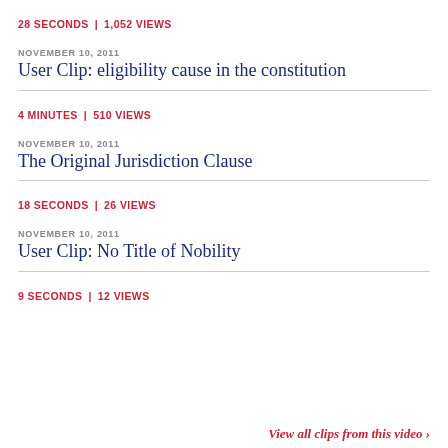28 SECONDS | 1,052 VIEWS
NOVEMBER 10, 2011
User Clip: eligibility cause in the constitution
4 MINUTES | 510 VIEWS
NOVEMBER 10, 2011
The Original Jurisdiction Clause
18 SECONDS | 26 VIEWS
NOVEMBER 10, 2011
User Clip: No Title of Nobility
9 SECONDS | 12 VIEWS
View all clips from this video ›